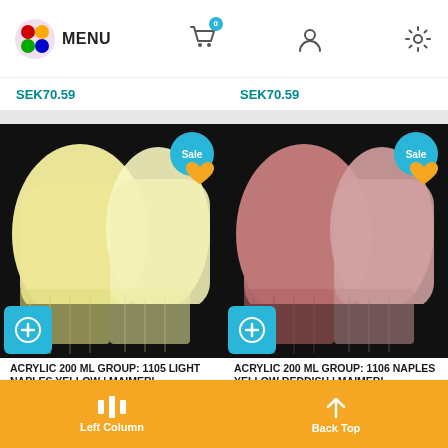MENU [navigation bar with cart, user, settings icons]
SEK70.59  SEK70.59
[Figure (photo): Acrylic paint swatch showing light yellow paint strokes on black background, with Sale badge and add-to-cart button]
[Figure (photo): Acrylic paint swatch showing reddish pink paint strokes on black background, with Sale badge and add-to-cart button]
ACRYLIC 200 ML GROUP: 1105 LIGHT NAPLES YELLOW | MAIMERI
ACRYLIC 200 ML GROUP: 1106 NAPLES YELLOW REDDISH | MAIMERI
Left Column  Back Top